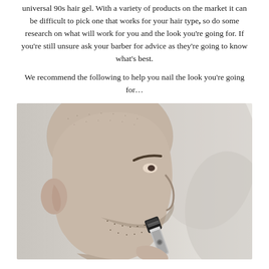universal 90s hair gel. With a variety of products on the market it can be difficult to pick one that works for your hair type, so do some research on what will work for you and the look you're going for. If you're still unsure ask your barber for advice as they're going to know what's best.
We recommend the following to help you nail the look you're going for…
[Figure (photo): A bald man in profile view shaving or trimming his beard with a razor/trimmer held up to his face. The image is in black and white / desaturated tones with a blurred background.]